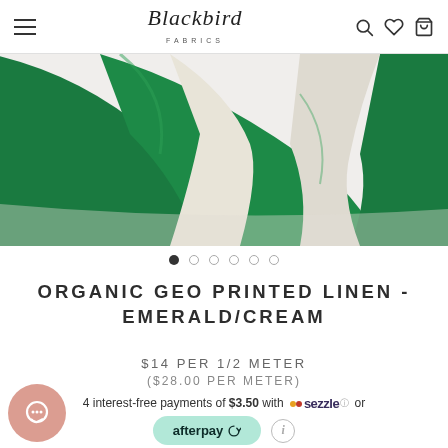Blackbird Fabrics
[Figure (photo): Green and cream organic geo printed linen fabric draped on white background]
ORGANIC GEO PRINTED LINEN - EMERALD/CREAM
$14 PER 1/2 METER
($28.00 PER METER)
4 interest-free payments of $3.50 with Sezzle or
[Figure (logo): Afterpay button with teal background]